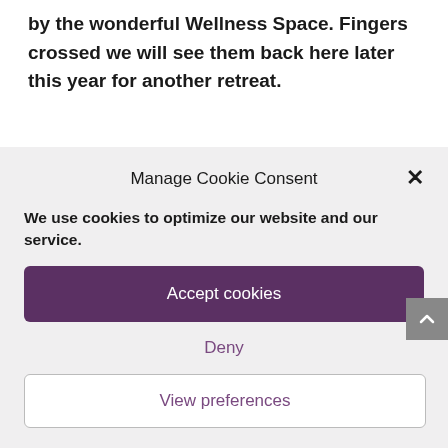by the wonderful Wellness Space. Fingers crossed we will see them back here later this year for another retreat.
Manage Cookie Consent
We use cookies to optimize our website and our service.
Accept cookies
Deny
View preferences
Cookie Policy  Privacy Statement